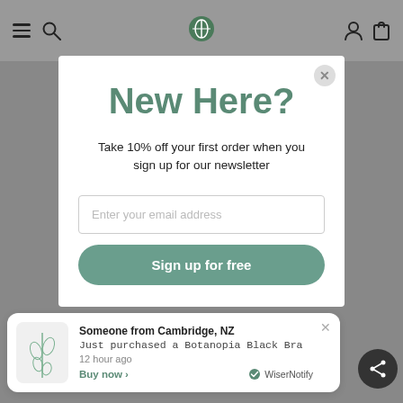[Figure (screenshot): Website navigation bar with hamburger menu, search icon, logo, user account icon, and shopping bag icon on a gray background]
New Here?
Take 10% off your first order when you sign up for our newsletter
Enter your email address
Sign up for free
Someone from Cambridge, NZ
Just purchased a Botanopia Black Bra
12 hour ago
Buy now ›   ✓ WiserNotify